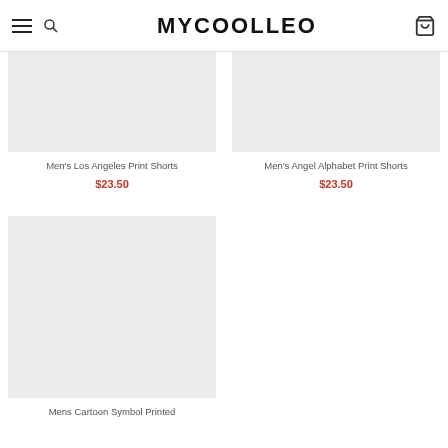Mycoolleo
[Figure (photo): Product image placeholder for Men's Los Angeles Print Shorts]
Men's Los Angeles Print Shorts
$23.50
[Figure (photo): Product image placeholder for Men's Angel Alphabet Print Shorts]
Men's Angel Alphabet Print Shorts
$23.50
[Figure (photo): Product image placeholder for Mens Cartoon Symbol Printed]
Mens Cartoon Symbol Printed